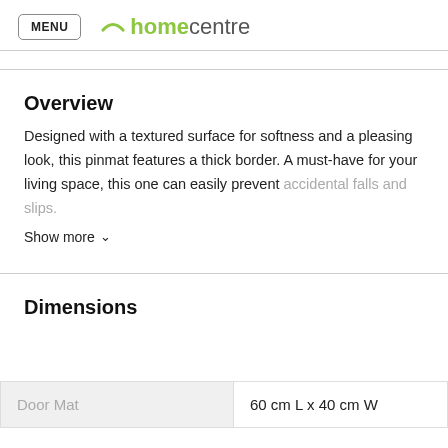MENU homecentre
Overview
Designed with a textured surface for softness and a pleasing look, this pinmat features a thick border. A must-have for your living space, this one can easily prevent accidental falls and slips.
Show more
Dimensions
|  |  |
| --- | --- |
| Door Mat | 60 cm L x 40 cm W |